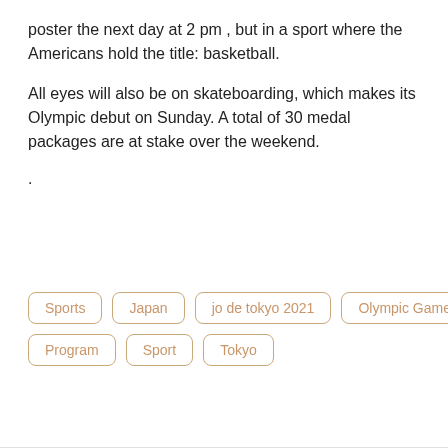poster the next day at 2 pm , but in a sport where the Americans hold the title: basketball.
All eyes will also be on skateboarding, which makes its Olympic debut on Sunday. A total of 30 medal packages are at stake over the weekend.
.
Sports
Japan
jo de tokyo 2021
Olympic Games
Program
Sport
Tokyo